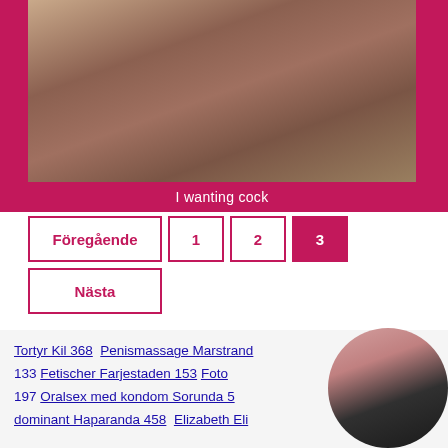[Figure (photo): Photo of a woman on a patterned surface]
I wanting cock
Föregående
1
2
3
Nästa
Tortyr Kil 368  Penismassage Marstrand 133  Fetischer Farjestaden 153  Foto 197  Oralsex med kondom Sorunda 5...  dominant Haparanda 458  Elizabeth Eli...
[Figure (photo): Circular photo of a blonde woman in dark outfit]